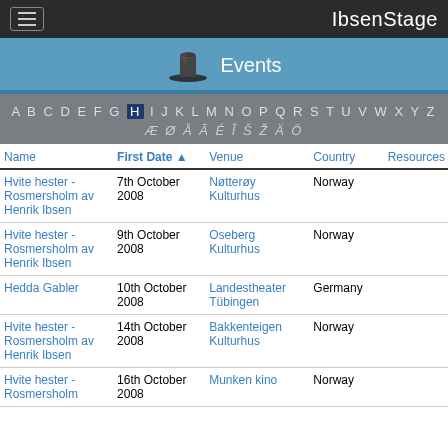IbsenStage
[Figure (other): Events banner with top hat icon and text 'Events' on blue background]
A B C D E F G H I J K L M N O P Q R S T U V W X Y Z Æ Ø Å Ā É Î Š Ž Ä Ö
| Name | First Date ▲ | Venue | Country | Resources |
| --- | --- | --- | --- | --- |
| Hvite hester - Rosmersholm av Henrik Ibsen | 7th October 2008 | Nøtterøy Kulturhus | Norway |  |
| Hvite hester - Rosmersholm av Henrik Ibsen | 9th October 2008 | Oseberg Kulturhus | Norway |  |
| Hedda Gabler | 10th October 2008 | Landestheater Tübingen | Germany |  |
| Hvite hester - Rosmersholm av Henrik Ibsen | 14th October 2008 | Bakkenteigen Kulturhus | Norway |  |
| Hvite hester - Rosmersholm av Henrik Ibsen | 16th October 2008 | Munken kino | Norway |  |